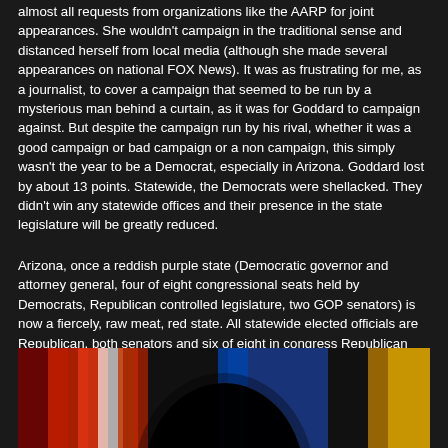almost all requests from organizations like the AARP for joint appearances. She wouldn't campaign in the traditional sense and distanced herself from local media (although she made several appearances on national FOX News). It was as frustrating for me, as a journalist, to cover a campaign that seemed to be run by a mysterious man behind a curtain, as it was for Goddard to campaign against. But despite the campaign run by his rival, whether it was a good campaign or bad campaign or a non campaign, this simply wasn't the year to be a Democrat, especially in Arizona. Goddard lost by about 13 points. Statewide, the Democrats were shellacked. They didn't win any statewide offices and their presence in the state legislature will be greatly reduced.
Arizona, once a reddish purple state (Democratic governor and attorney general, four of eight congressional seats held by Democrats, Republican controlled legislature, two GOP senators) is now a fiercely, raw meat, red state. All statewide elected officials are Republican, both senators and six of eight in congress Republican and overwhelming GOP control of the state legislature.
There are more photos from the campaign in my archive. I have a multimedia piece on the campaign on Documentary Podcasts page.
[Figure (photo): Dark photograph showing a silhouette of a person's head against a blurred background with red, white, and blue colors (American flag-like colors).]